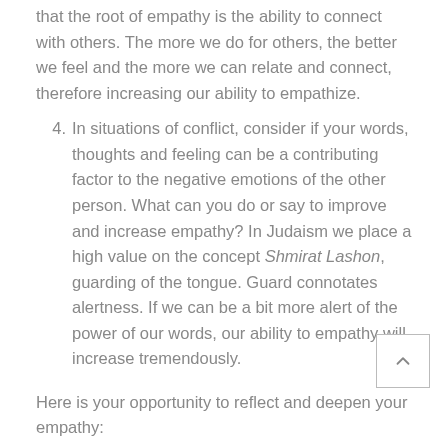that the root of empathy is the ability to connect with others. The more we do for others, the better we feel and the more we can relate and connect, therefore increasing our ability to empathize.
4. In situations of conflict, consider if your words, thoughts and feeling can be a contributing factor to the negative emotions of the other person. What can you do or say to improve and increase empathy? In Judaism we place a high value on the concept Shmirat Lashon, guarding of the tongue. Guard connotates alertness. If we can be a bit more alert of the power of our words, our ability to empathy will increase tremendously.
Here is your opportunity to reflect and deepen your empathy:
1. Write about a time when you felt happy or sad because you felt what someone else was feeling.